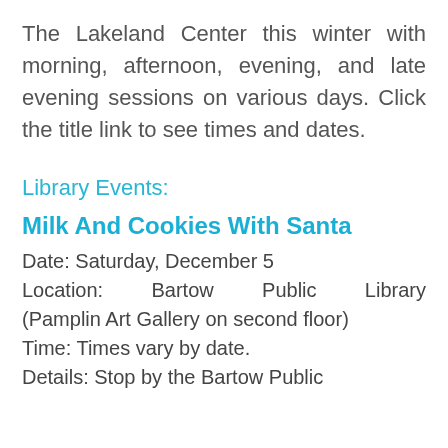The Lakeland Center this winter with morning, afternoon, evening, and late evening sessions on various days. Click the title link to see times and dates.
Library Events:
Milk And Cookies With Santa
Date: Saturday, December 5
Location: Bartow Public Library (Pamplin Art Gallery on second floor)
Time: Times vary by date.
Details: Stop by the Bartow Public